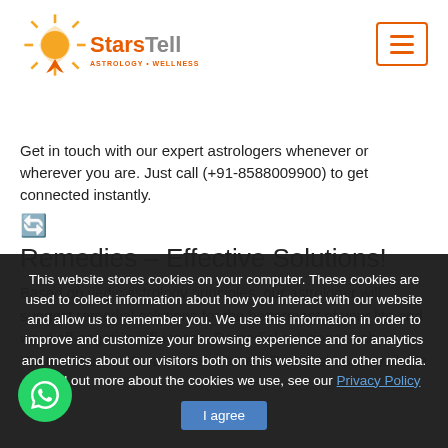[Figure (logo): StarsTell Astrology + Wellness logo with sun graphic]
Get in touch with our expert astrologers whenever or wherever you are. Just call (+91-8588009900) to get connected instantly.
[Figure (other): Refresh/loading icon]
Remedies – Effective Solutions!
Based on vedic astrology principles, our astrologer will suggest remedial solutions for the betterment of your life and ward off negative influences. Remedial solutions such as Yantra, Mantra, Kavach, Gemstones, Rudraksh, are available with us.
This website stores cookies on your computer. These cookies are used to collect information about how you interact with our website and allow us to remember you. We use this information in order to improve and customize your browsing experience and for analytics and metrics about our visitors both on this website and other media. To find out more about the cookies we use, see our Privacy Policy
[Figure (other): WhatsApp chat button (green circle with WhatsApp icon)]